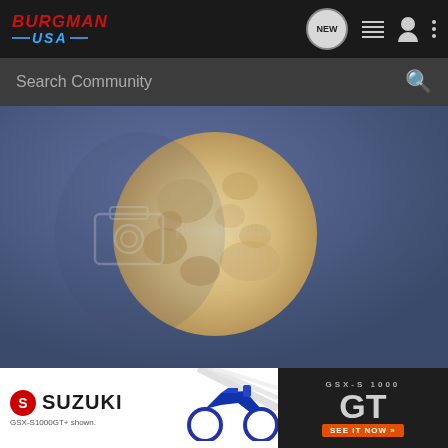BURGMAN USA — navigation bar with logo, NEW chat icon, list icon, user icon, menu icon
Search Community
[Figure (photo): Full moon photograph against a blue-grey sky background, with Photobucket host.store.share watermark overlay]
[Figure (photo): Suzuki GSX-S1000 GT advertisement banner. Left side: Suzuki logo and 'SUZUKI' text, 'GSX-S1000GT+ shown.' caption, motorcycle image. Right side: dark background with 'GSX-S 1000' text, large 'GT' logo, 'SEE IT NOW' orange button.]